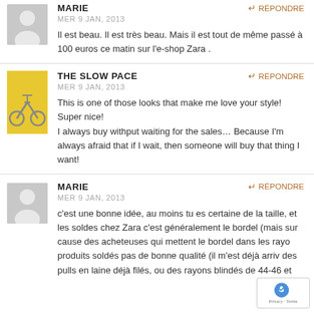MARIE
MER 9 JAN, 2013
Il est beau. Il est très beau. Mais il est tout de même passé à 100 euros ce matin sur l'e-shop Zara .
THE SLOW PACE
MER 9 JAN, 2013
This is one of those looks that make me love your style! Super nice!
I always buy withput waiting for the sales… Because I'm always afraid that if I wait, then someone will buy that thing I want!
MARIE
MER 9 JAN, 2013
c'est une bonne idée, au moins tu es certaine de la taille, et les soldes chez Zara c'est généralement le bordel (mais sur cause des acheteuses qui mettent le bordel dans les rayons produits soldés pas de bonne qualité (il m'est déjà arrivé des pulls en laine déjà filés, ou des rayons blindés de 44-46 et